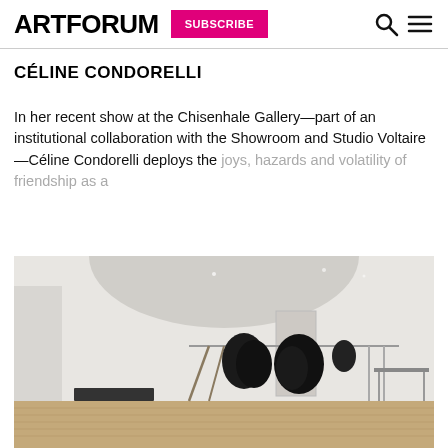ARTFORUM | SUBSCRIBE
CÉLINE CONDORELLI
In her recent show at the Chisenhale Gallery—part of an institutional collaboration with the Showroom and Studio Voltaire—Céline Condorelli deploys the joys, hazards and volatility of friendship as a
[Figure (photo): Gallery interior showing installation with metal clothing racks with black fabric pieces draped over them, standing on a wooden floor in a white gallery space with an arched ceiling.]